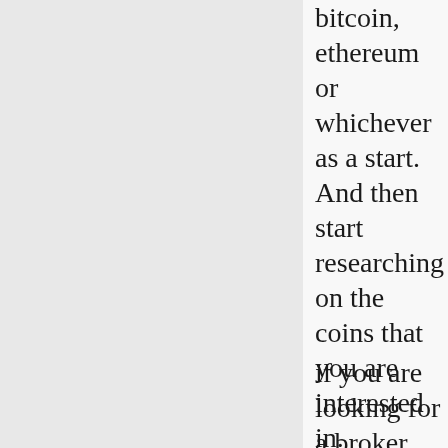bitcoin, ethereum or whichever as a start. And then start researching on the coins that you are interested in.
if you are looking for a broker account, we are using binance as they are the exchange with the highest trading volume in the world. you may use our referral code for 5% fees off: https://accounts.binance.com/en/register?